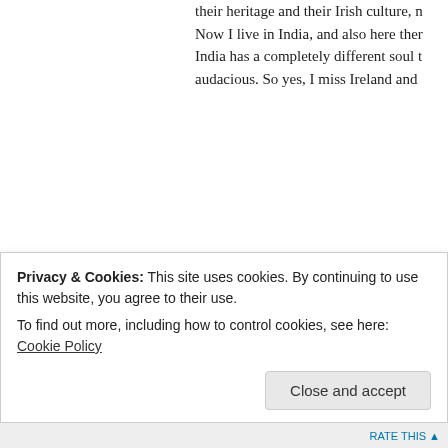their heritage and their Irish culture, n Now I live in India, and also here ther India has a completely different soul t audacious. So yes, I miss Ireland and
★ Like
Log in to Reply
edmooneyphotography s
March 3, 2014 at 8:52 AM
👍 0 👎 0 🔵 Rate This
Ahh Norway, good Viking
Privacy & Cookies: This site uses cookies. By continuing to use this website, you agree to their use.
To find out more, including how to control cookies, see here: Cookie Policy
Close and accept